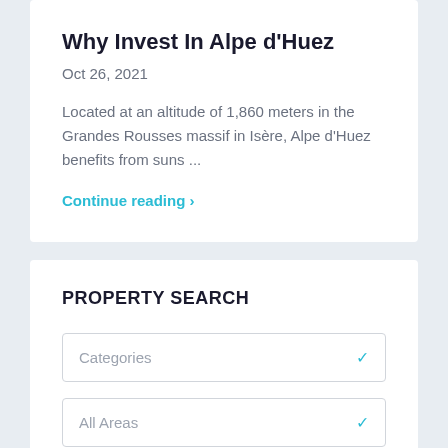Why Invest In Alpe d'Huez
Oct 26, 2021
Located at an altitude of 1,860 meters in the Grandes Rousses massif in Isère, Alpe d'Huez benefits from suns ...
Continue reading ›
PROPERTY SEARCH
Categories
All Areas